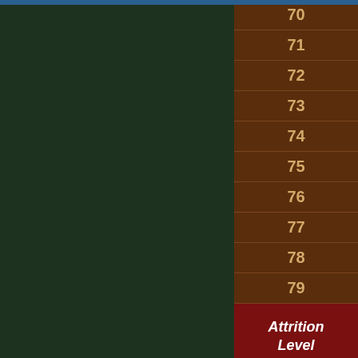[Figure (screenshot): A UI panel showing a dark green left section and a brown right column listing row numbers 70-81 with a highlighted 'Attrition Level' label cell in dark red between rows 79 and 80.]